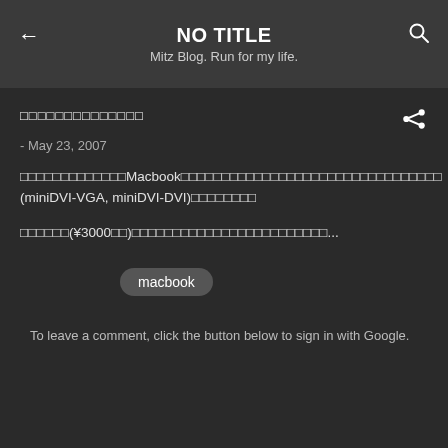NO TITLE — Mitz Blog. Run for my life.
[Japanese characters]
- May 23, 2007
[Japanese text]Macbook[Japanese text](miniDVI-VGA, miniDVI-DVI)[Japanese text]
[Japanese text](¥3000[Japanese text])[Japanese text]...
macbook
To leave a comment, click the button below to sign in with Google.